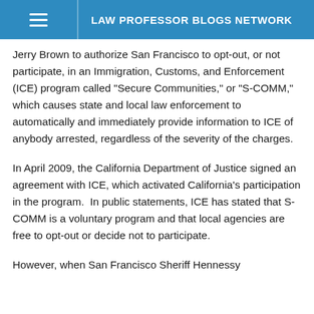LAW PROFESSOR BLOGS NETWORK
Jerry Brown to authorize San Francisco to opt-out, or not participate, in an Immigration, Customs, and Enforcement (ICE) program called "Secure Communities," or "S-COMM," which causes state and local law enforcement to automatically and immediately provide information to ICE of anybody arrested, regardless of the severity of the charges.
In April 2009, the California Department of Justice signed an agreement with ICE, which activated California's participation in the program.  In public statements, ICE has stated that S-COMM is a voluntary program and that local agencies are free to opt-out or decide not to participate.
However, when San Francisco Sheriff Hennessy